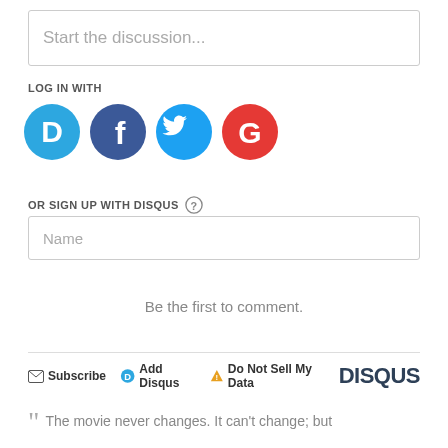Start the discussion...
LOG IN WITH
[Figure (illustration): Four social login icons: Disqus (blue circle with D), Facebook (dark blue circle with f), Twitter (light blue circle with bird), Google (red circle with G)]
OR SIGN UP WITH DISQUS ?
Name
Be the first to comment.
Subscribe  Add Disqus  Do Not Sell My Data  DISQUS
The movie never changes. It can't change; but